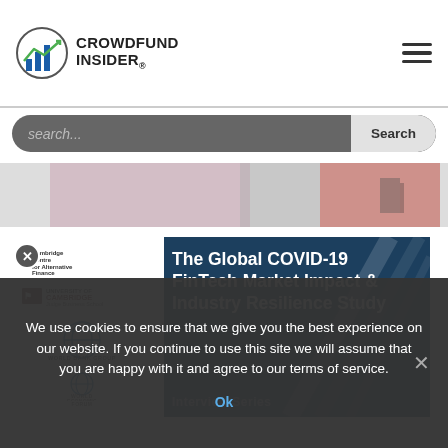CROWDFUND INSIDER
search...
[Figure (photo): Partial image of two people visible at top of content area]
[Figure (screenshot): Blue card showing 'The Global COVID-19 FinTech Market Impact & Industry Resilience Study' with logos of Cambridge Centre for Alternative Finance, University of Cambridge Judge Business School, World Bank Group, and World Economic Forum on the left side]
We use cookies to ensure that we give you the best experience on our website. If you continue to use this site we will assume that you are happy with it and agree to our terms of service.
Ok